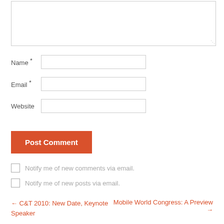[Figure (screenshot): A comment form section of a webpage showing a textarea (partially visible at top), Name field with required asterisk, Email field with required asterisk, Website field, a Post Comment button in orange, two checkboxes for email notifications, and post navigation links at the bottom.]
Name *
Email *
Website
Post Comment
Notify me of new comments via email.
Notify me of new posts via email.
← C&T 2010: New Date, Keynote Speaker
Mobile World Congress: A Preview →